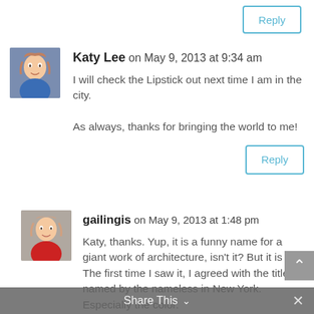Reply
Katy Lee on May 9, 2013 at 9:34 am
I will check the Lipstick out next time I am in the city.

As always, thanks for bringing the world to me!
Reply
gailingis on May 9, 2013 at 1:48 pm
Katy, thanks. Yup, it is a funny name for a giant work of architecture, isn't it? But it is apt. The first time I saw it, I agreed with the title, named by the nameless in New York. Especially the color.
Share This